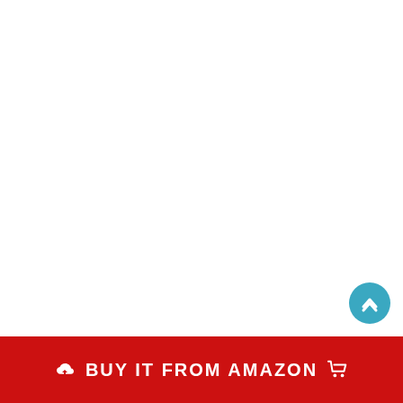[Figure (other): Mostly blank white page with a red 'BUY IT FROM AMAZON' button at the bottom and a blue circular scroll-up arrow button above it on the right side.]